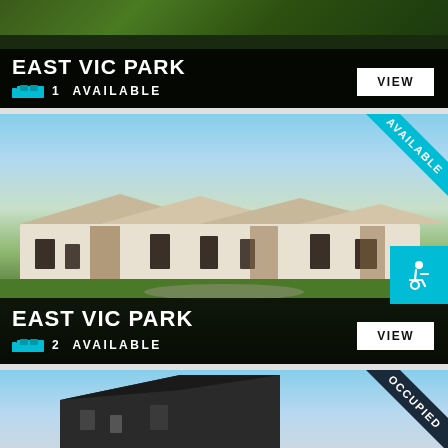[Figure (photo): East Vic Park listing card 1 with dark background and foliage. Shows 1 AVAILABLE with bed icon and VIEW button.]
EAST VIC PARK
1  AVAILABLE
[Figure (photo): East Vic Park listing card 2. Exterior architectural render of single-story residential homes with lawn, trees, cloudy sky. 'AVAILABLE' ribbon top right. Wheelchair accessibility icon bottom right. Shows 2 AVAILABLE with VIEW button.]
EAST VIC PARK
2  AVAILABLE
[Figure (photo): Third listing card showing a modern home exterior, partially visible. 'OCCUPIED' ribbon top right corner. Dark navy ribbon.]